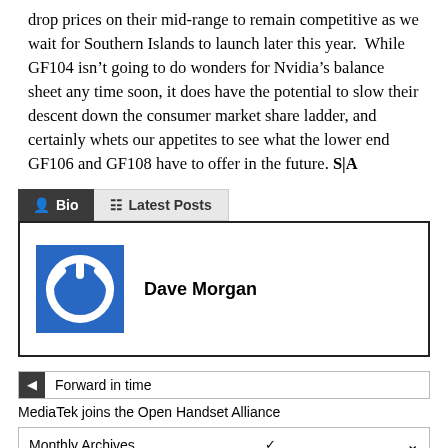drop prices on their mid-range to remain competitive as we wait for Southern Islands to launch later this year. While GF104 isn't going to do wonders for Nvidia's balance sheet any time soon, it does have the potential to slow their descent down the consumer market share ladder, and certainly whets our appetites to see what the lower end GF106 and GF108 have to offer in the future. S|A
Bio | Latest Posts
Dave Morgan
Forward in time
MediaTek joins the Open Handset Alliance
Monthly Archives
Category Archive